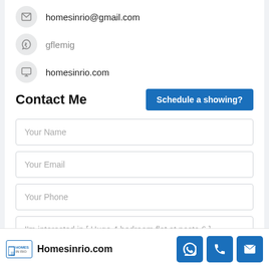homesinrio@gmail.com
gflemig
homesinrio.com
Contact Me
Schedule a showing?
Your Name
Your Email
Your Phone
I'm interested in [ Huge 4 bedroom flat at posto 6 ]
Homesinrio.com